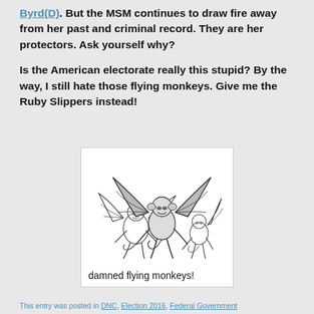Byrd(D). But the MSM continues to draw fire away from her past and criminal record. They are her protectors. Ask yourself why?
Is the American electorate really this stupid? By the way, I still hate those flying monkeys. Give me the Ruby Slippers instead!
[Figure (illustration): Black and white illustration of three flying monkeys with wings, captioned 'damned flying monkeys!']
This entry was posted in DNC, Election 2016, Federal Government